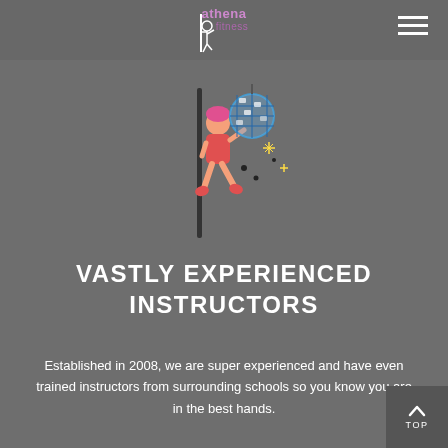athena fitness
[Figure (illustration): Colorful icon of a person on a pole with a disco ball and sparkles]
VASTLY EXPERIENCED INSTRUCTORS
Established in 2008, we are super experienced and have even trained instructors from surrounding schools so you know you are in the best hands.